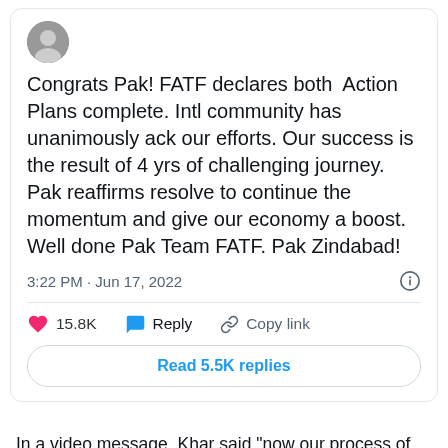[Figure (screenshot): Tweet/social media post card showing: avatar image at top left, tweet text reading 'Congrats Pak! FATF declares both Action Plans complete. Intl community has unanimously ack our efforts. Our success is the result of 4 yrs of challenging journey. Pak reaffirms resolve to continue the momentum and give our economy a boost. Well done Pak Team FATF. Pak Zindabad!', timestamp '3:22 PM · Jun 17, 2022', info icon, divider, action icons (heart 15.8K, Reply bubble, Copy link), and 'Read 5.5K replies' button.]
In a video message, Khar said "now our process of exiting the grey list as per the FATF procedure starts, according to which a technical evaluation team will be sent to Pakistan.
"It was a full effort and it was our own determination and effort